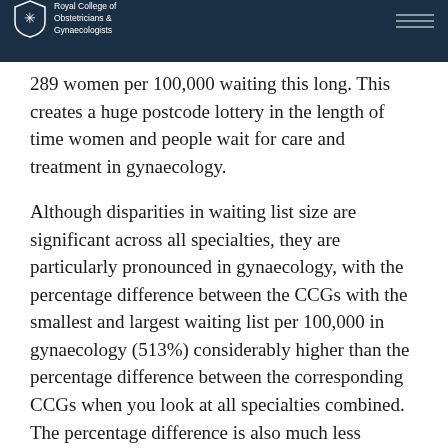Royal College of Obstetricians & Gynaecologists
289 women per 100,000 waiting this long. This creates a huge postcode lottery in the length of time women and people wait for care and treatment in gynaecology.
Although disparities in waiting list size are significant across all specialties, they are particularly pronounced in gynaecology, with the percentage difference between the CCGs with the smallest and largest waiting list per 100,000 in gynaecology (513%) considerably higher than the percentage difference between the corresponding CCGs when you look at all specialties combined. The percentage difference is also much less pronounced in other specialties with long waiting lists, such as